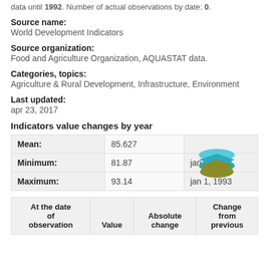data until 1992. Number of actual observations by date: 0.
Source name:
World Development Indicators
Source organization:
Food and Agriculture Organization, AQUASTAT data.
Categories, topics:
Agriculture & Rural Development, Infrastructure, Environment
Last updated:
apr 23, 2017
[Figure (logo): Stacked layers logo icon in blue, teal, and olive/green colors]
Indicators value changes by year
|  |  |  |
| --- | --- | --- |
| Mean: | 85.627 |  |
| Minimum: | 81.87 | jan 1, 2003 |
| Maximum: | 93.14 | jan 1, 1993 |
| At the date of observation | Value | Absolute change | Change from previous |
| --- | --- | --- | --- |